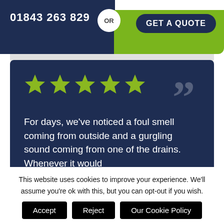01843 263 829
OR
GET A QUOTE
[Figure (other): Five green stars rating and large closing quotation marks on dark navy background]
For days, we've noticed a foul smell coming from outside and a gurgling sound coming from one of the drains. Whenever it would
This website uses cookies to improve your experience. We'll assume you're ok with this, but you can opt-out if you wish.
Accept
Reject
Our Cookie Policy